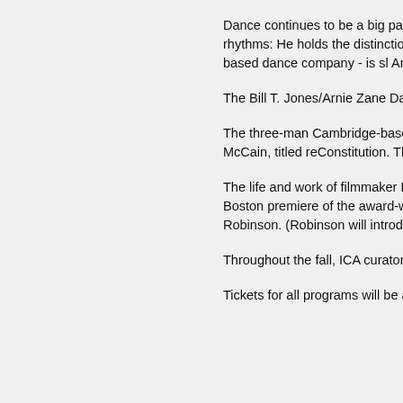Dance continues to be a big part of ICA p James Devine makes his Boston debut Oc urban rhythms: He holds the distinction o “Fastest Dancer in the World.” (He clocks Philadelphia-based dance company - is sl American-based moves with ballet, jazz,
The Bill T. Jones/Arnie Zane Dance Compa anniversary celebration.
The three-man Cambridge-based audiovi present a live remix of the Sept. 26 presi John McCain, titled reConstitution. The ev experimental events - part performance s
The life and work of filmmaker Danny Will mysteriously disappeared at age 27 - will the Boston premiere of the award-winnin Williams and the Warhol Factory” on Sept Esther Robinson. (Robinson will introduce never-before-seen short films will also be
Throughout the fall, ICA curators will offe the ICA galleries. “We’re trying to keep th
Tickets for all programs will be available f Ditson Festival only will be available to th